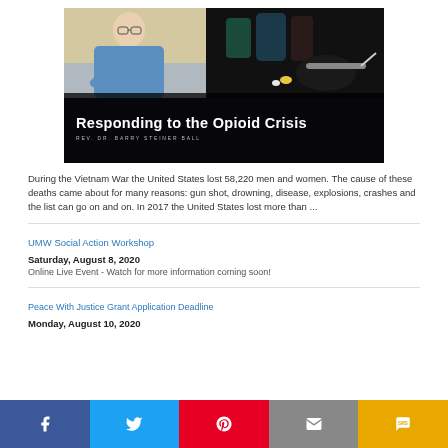[Figure (photo): Hero image with two photos: a man in a blue shirt on left and drug paraphernalia on right, overlaid with title text 'Responding to the Opioid Crisis' and subtitle 'REV. DR. BARRY STEINER BALL']
During the Vietnam War the United States lost 58,220 men and women.  The cause of these deaths came about for many reasons: gun shot, drowning, disease, explosions, crashes and the list can go on and on.   In 2017 the United States lost more than ...
UMW Social Action Workshop
Saturday, August 8, 2020
Online Live Event - Watch for more information coming soon!
Peace With Justice Grant Application Deadline
Monday, August 10, 2020
Facebook | Twitter | Pinterest | Email | SMS